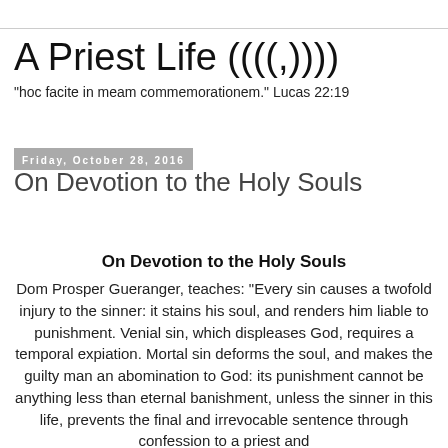A Priest Life ((((,))))
"hoc facite in meam commemorationem." Lucas 22:19
Friday, October 28, 2016
On Devotion to the Holy Souls
On Devotion to the Holy Souls
Dom Prosper Gueranger, teaches: “Every sin causes a twofold injury to the sinner: it stains his soul, and renders him liable to punishment. Venial sin, which displeases God, requires a temporal expiation. Mortal sin deforms the soul, and makes the guilty man an abomination to God: its punishment cannot be anything less than eternal banishment, unless the sinner in this life, prevents the final and irrevocable sentence through confession to a priest and